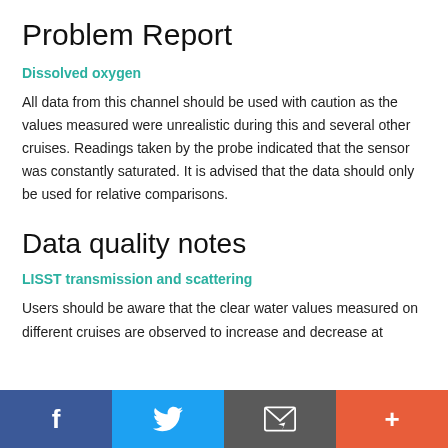Problem Report
Dissolved oxygen
All data from this channel should be used with caution as the values measured were unrealistic during this and several other cruises. Readings taken by the probe indicated that the sensor was constantly saturated. It is advised that the data should only be used for relative comparisons.
Data quality notes
LISST transmission and scattering
Users should be aware that the clear water values measured on different cruises are observed to increase and decrease at
Facebook | Twitter | Email | More